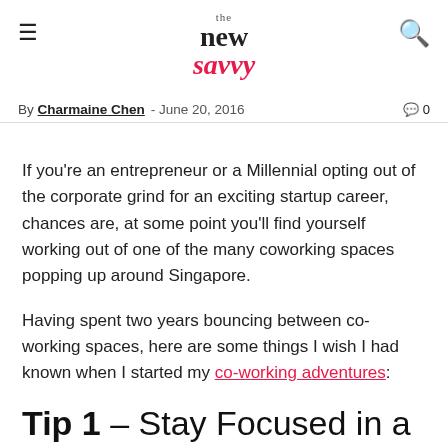the new savvy
By Charmaine Chen · June 20, 2016  0
If you're an entrepreneur or a Millennial opting out of the corporate grind for an exciting startup career, chances are, at some point you'll find yourself working out of one of the many coworking spaces popping up around Singapore.
Having spent two years bouncing between co-working spaces, here are some things I wish I had known when I started my co-working adventures:
Tip 1 – Stay Focused in a